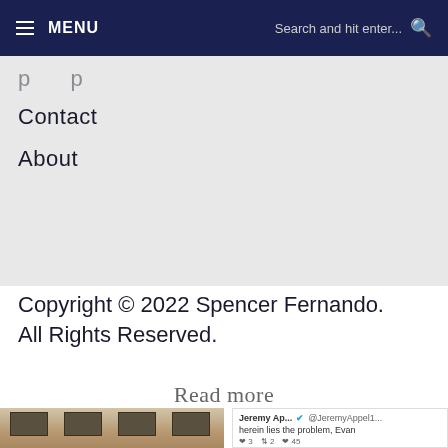≡ MENU   Search and hit enter...  🔍
Contact
About
Copyright © 2022 Spencer Fernando. All Rights Reserved.
Read more
[Figure (photo): Photo of a stone building facade with dark windows]
[Figure (screenshot): Tweet screenshot: Jeremy Ap... @JeremyAppel1... herein lies the problem, Evan — with stats: 3 retweets, 2, 45 likes]